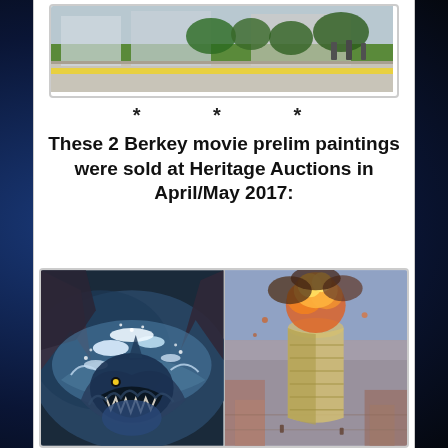[Figure (photo): Top photo showing an outdoor scene with green grass, walkway, yellow stripe, trees, and people in the background]
* * *
These 2 Berkey movie prelim paintings were sold at Heritage Auctions in April/May 2017:
[Figure (illustration): Two paintings side by side: left shows a monster/shark creature emerging from churning water (Jaws-like); right shows a tall cylindrical tower on fire with aerial view of city surroundings]